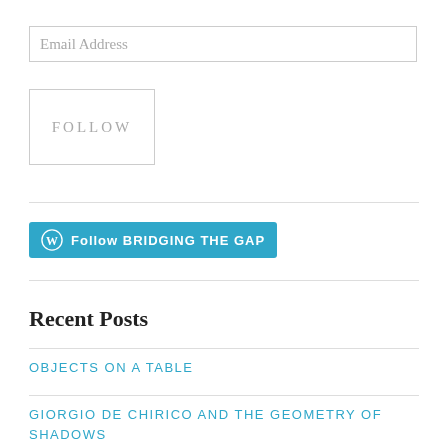Email Address
FOLLOW
[Figure (logo): WordPress follow button with text: Follow BRIDGING THE GAP]
Recent Posts
OBJECTS ON A TABLE
GIORGIO DE CHIRICO AND THE GEOMETRY OF SHADOWS